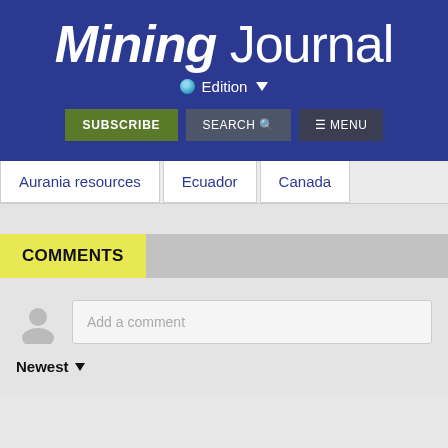[Figure (logo): Mining Journal logo in white text on dark blue background, with 'Mining' in bold italic and 'Journal' in light weight]
Edition
SUBSCRIBE   SEARCH   ≡ MENU
Aurania resources
Ecuador
Canada
COMMENTS
Add a comment
Newest ▼